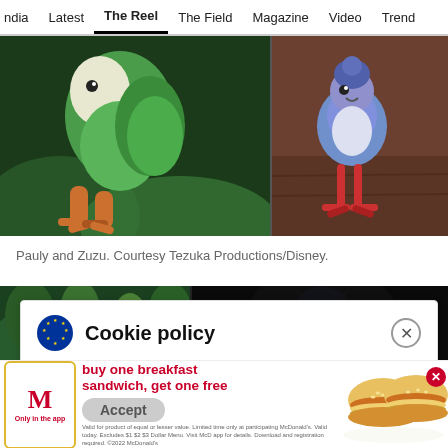ndia  Latest  The Reel  The Field  Magazine  Video  Trend
[Figure (photo): Two side-by-side animation stills: left shows Pauly (eagle-like bird cartoon character with green feathers and orange talons), right shows Zuzu (small blue bird cartoon character with red feet on brown wooden surface). Courtesy Tezuka Productions/Disney.]
Pauly and Zuzu. Courtesy Tezuka Productions/Disney.
[Figure (photo): Two side-by-side animation stills: left shows a small cat-like cartoon character against a green forest background, right shows a dark shadowy cartoon character against a very dark background.]
We use cookies for analytics, advertising and to improve our site. You agree to our use of cookies by hitting 'Accept' button, closing this message box or continuing to use our site. To find out more see our Privacy policy .
[Figure (photo): McDonald's advertisement showing two breakfast sandwiches (Egg McMuffin style). Text reads: buy one breakfast sandwich, get one free. Only in the app. Fine print about validity at participating McDonald's locations.]